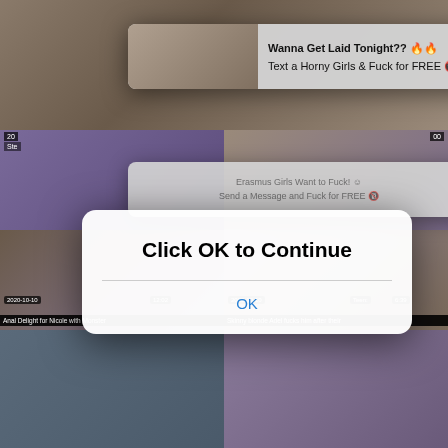[Figure (screenshot): Background grid of video thumbnails from adult video website]
Wanna Get Laid Tonight?? 🔥🔥
Text a Horny Girls & Fuck for FREE 🔞🔞
Erasmus Girls Want to Fuck! ☺
Send a Message and Fuck for FREE 🔞
Click OK to Continue
OK
2020-10-10
12:02
Anal Delight for Nicole with Monster
2020-10-10
Teen:
6:39
Skinny blonde Adel fucks him after their